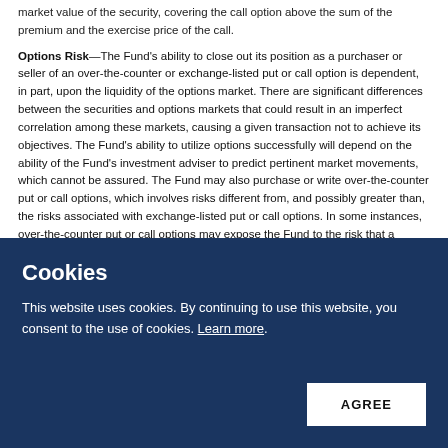market value of the security, covering the call option above the sum of the premium and the exercise price of the call.
Options Risk—The Fund's ability to close out its position as a purchaser or seller of an over-the-counter or exchange-listed put or call option is dependent, in part, upon the liquidity of the options market. There are significant differences between the securities and options markets that could result in an imperfect correlation among these markets, causing a given transaction not to achieve its objectives. The Fund's ability to utilize options successfully will depend on the ability of the Fund's investment adviser to predict pertinent market movements, which cannot be assured. The Fund may also purchase or write over-the-counter put or call options, which involves risks different from, and possibly greater than, the risks associated with exchange-listed put or call options. In some instances, over-the-counter put or call options may expose the Fund to the risk that a counterparty may be unable or unwilling to perform according to a contract, and that any deterioration in a counterparty's creditworthiness could adversely affect the instrument. In addition, the Fund may be exposed to a risk that losses may exceed the amount originally invested.
Beta is a measure of the volatility or systematic risk, of a security or a portfolio in
[Figure (screenshot): Cookie consent overlay banner with dark navy background. Title: 'Cookies'. Body text: 'This website uses cookies. By continuing to use this website, you consent to the use of cookies. Learn more.' Button: 'AGREE']